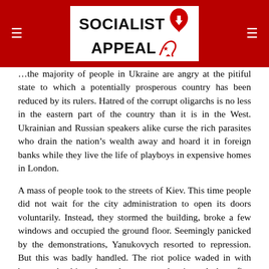Socialist Appeal
Overall, the majority of people in Ukraine are angry at the pitiful state to which a potentially prosperous country has been reduced by its rulers. Hatred of the corrupt oligarchs is no less in the eastern part of the country than it is in the West. Ukrainian and Russian speakers alike curse the rich parasites who drain the nation’s wealth away and hoard it in foreign banks while they live the life of playboys in expensive homes in London.
A mass of people took to the streets of Kiev. This time people did not wait for the city administration to open its doors voluntarily. Instead, they stormed the building, broke a few windows and occupied the ground floor. Seemingly panicked by the demonstrations, Yanukovych resorted to repression. But this was badly handled. The riot police waded in with batons and subjected people to savage beatings. At least five people were killed. But far from intimidating the protesters, this brutal display of violence only infuriated them.
The president alternated between attempting forcibly to clear the protesters and offering concessions. But the concessions were too small to satisfy the protesters and the repression was too weak to cow them. Within a few weeks the protests swept Ukraine and quickly grew